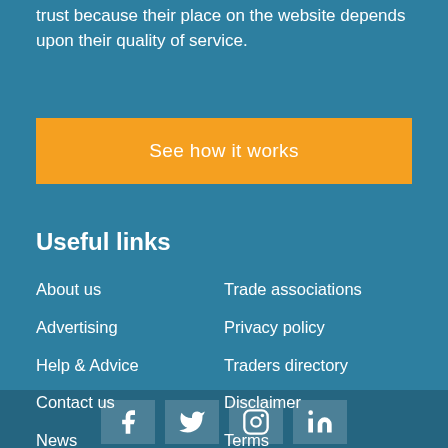trust because their place on the website depends upon their quality of service.
[Figure (other): Orange button with text 'See how it works']
Useful links
About us
Trade associations
Advertising
Privacy policy
Help & Advice
Traders directory
Contact us
Disclaimer
News
Terms
Social pages
Customer guarantee
[Figure (other): Social media icons: Facebook, Twitter, Instagram, LinkedIn]